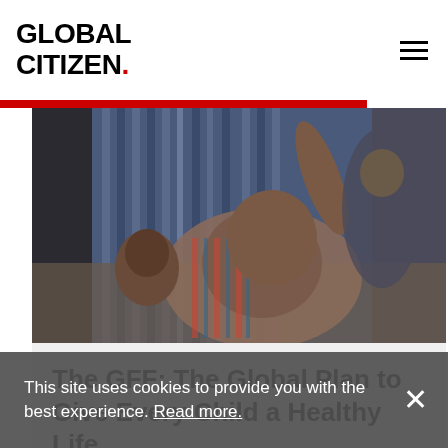GLOBAL CITIZEN.
[Figure (photo): A woman and child sitting together, the child raising their hand, photographed in a home setting with colorful fabric in the background. Muted, documentary-style photography.]
The GFF: The Global Plan to Give Every Child a Healthy Life
This site uses cookies to provide you with the best experience. Read more.